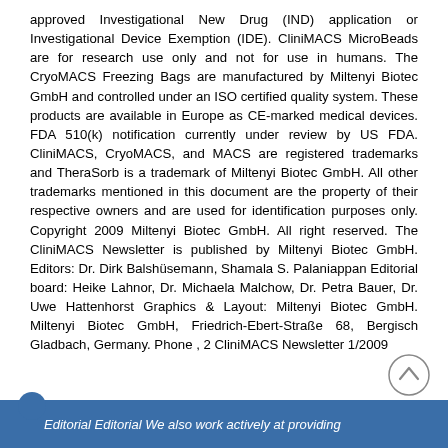approved Investigational New Drug (IND) application or Investigational Device Exemption (IDE). CliniMACS MicroBeads are for research use only and not for use in humans. The CryoMACS Freezing Bags are manufactured by Miltenyi Biotec GmbH and controlled under an ISO certified quality system. These products are available in Europe as CE-marked medical devices. FDA 510(k) notification currently under review by US FDA. CliniMACS, CryoMACS, and MACS are registered trademarks and TheraSorb is a trademark of Miltenyi Biotec GmbH. All other trademarks mentioned in this document are the property of their respective owners and are used for identification purposes only. Copyright 2009 Miltenyi Biotec GmbH. All right reserved. The CliniMACS Newsletter is published by Miltenyi Biotec GmbH. Editors: Dr. Dirk Balshüsemann, Shamala S. Palaniappan Editorial board: Heike Lahnor, Dr. Michaela Malchow, Dr. Petra Bauer, Dr. Uwe Hattenhorst Graphics & Layout: Miltenyi Biotec GmbH. Miltenyi Biotec GmbH, Friedrich-Ebert-Straße 68, Bergisch Gladbach, Germany. Phone , 2 CliniMACS Newsletter 1/2009
Editorial Editorial We also work actively at providing